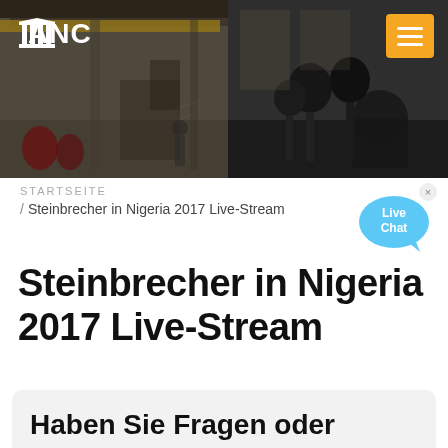[Figure (photo): Header banner photo showing an industrial hall/factory interior on the left and microphones/press conference setup on the right, with a dark overlay. ANC logo with pillar icon in white text top left, orange hamburger menu button top right.]
ANC
STARTSEITE / Steinbrecher in Nigeria 2017 Live-Stream
Steinbrecher in Nigeria 2017 Live-Stream
Haben Sie Fragen oder benötigen Sie ein